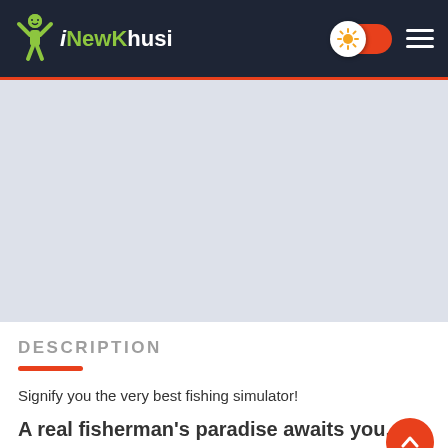iNewKhusi
[Figure (illustration): Light grey banner/image placeholder area below the navigation header]
DESCRIPTION
Signify you the very best fishing simulator!
A real fisherman's paradise awaits you...